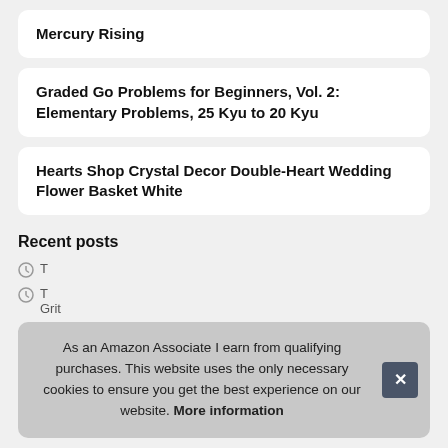Mercury Rising
Graded Go Problems for Beginners, Vol. 2: Elementary Problems, 25 Kyu to 20 Kyu
Hearts Shop Crystal Decor Double-Heart Wedding Flower Basket White
Recent posts
T
T Grit
T
As an Amazon Associate I earn from qualifying purchases. This website uses the only necessary cookies to ensure you get the best experience on our website. More information